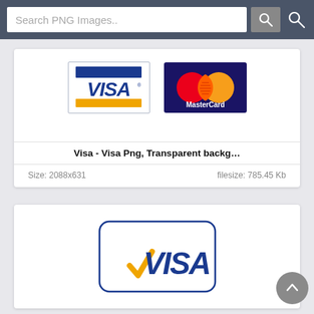Search PNG Images..
[Figure (logo): Visa logo and MasterCard logo side by side]
Visa - Visa Png, Transparent backg…
Size: 2088x631   filesize: 785.45 Kb
[Figure (logo): Visa logo on white background with rounded rectangle border]